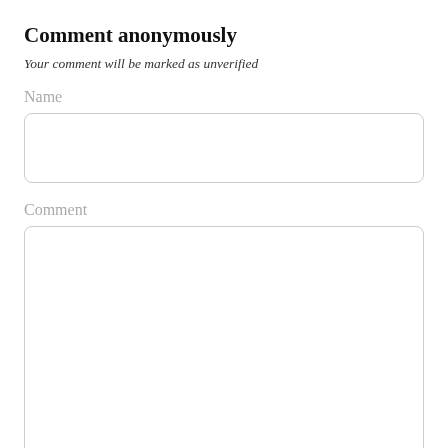Comment anonymously
Your comment will be marked as unverified
Name
[Figure (other): Empty text input field with rounded border for Name]
Comment
[Figure (other): Empty large textarea with rounded border for Comment]